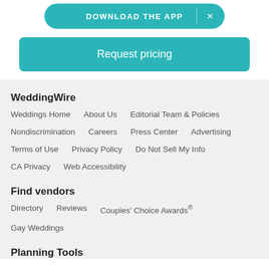[Figure (other): DOWNLOAD THE APP button with X close button, teal/turquoise pill-shaped banner]
Request pricing
WeddingWire
Weddings Home
About Us
Editorial Team & Policies
Nondiscrimination
Careers
Press Center
Advertising
Terms of Use
Privacy Policy
Do Not Sell My Info
CA Privacy
Web Accessibility
Find vendors
Directory
Reviews
Couples' Choice Awards®
Gay Weddings
Planning Tools